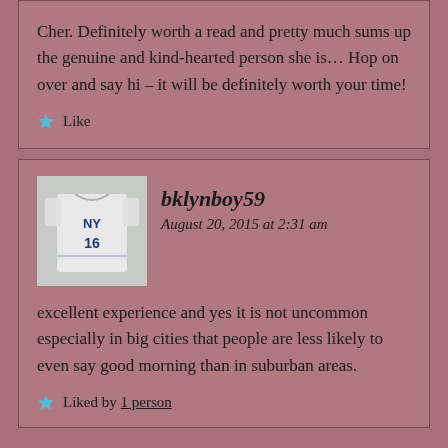Cher. Definitely worth a read and pretty much sums up the genuine and kind-hearted person she is... Hop on over and say hi – it will be definitely worth your time!
Like
bklynboy59
August 20, 2015 at 2:31 am
excellent experience and yes it is not uncommon especially in big cities that people are less likely to even say good morning than in suburban areas.
Liked by 1 person